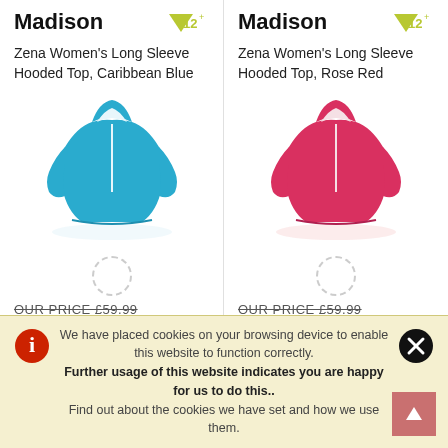Madison
Zena Women's Long Sleeve Hooded Top, Caribbean Blue
[Figure (photo): Blue hooded zip top (Caribbean Blue)]
OUR PRICE £59.99
Madison
Zena Women's Long Sleeve Hooded Top, Rose Red
[Figure (photo): Pink/red hooded zip top (Rose Red)]
OUR PRICE £59.99
We have placed cookies on your browsing device to enable this website to function correctly. Further usage of this website indicates you are happy for us to do this.. Find out about the cookies we have set and how we use them.